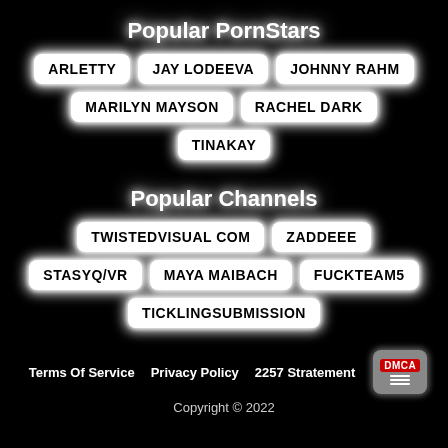Popular PornStars
ARLETTY
JAY LODEEVA
JOHNNY RAHM
MARILYN MAYSON
RACHEL DARK
TINAKAY
Popular Channels
TWISTEDVISUAL COM
ZADDEEE
STASYQ/VR
MAYA MAIBACH
FUCKTEAM5
TICKLINGSUBMISSION
Terms Of Service   Privacy Policy   2257 Stratement   DMCA
Copyright © 2022